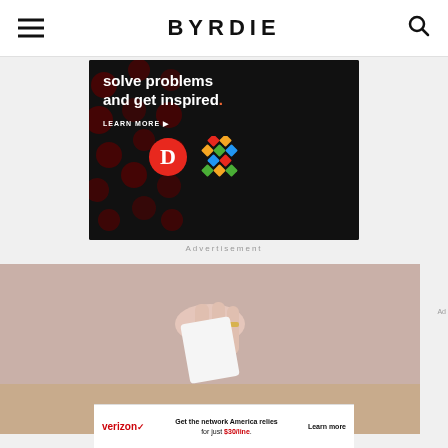BYRDIE
[Figure (screenshot): Dark advertisement banner with red polka dot background showing text 'solve problems and get inspired.' with LEARN MORE button and two logos: a red circle D and a colorful diamond grid pattern]
Advertisement
[Figure (photo): Person pulling a white facial wipe from blue packaging, placed on a wooden surface]
[Figure (screenshot): Verizon advertisement: 'Get the network America relies for just $30/line.' with Learn more button]